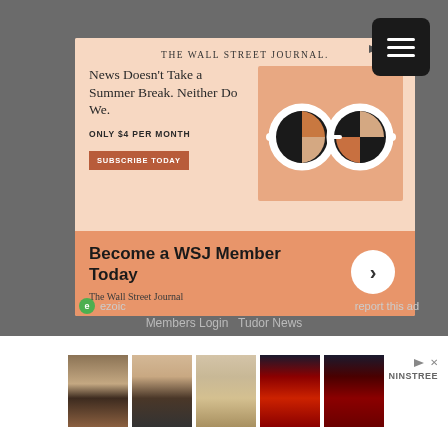[Figure (illustration): WSJ advertisement banner: 'News Doesn't Take a Summer Break. Neither Do We. Only $4 per month. Subscribe Today.' with decorative glasses illustration. Bottom section: 'Become a WSJ Member Today' with arrow button. 'The Wall Street Journal' source text.]
ezoic    report this ad
Members Login   Tudor News
[Figure (photo): Row of five shoe product photos showing various women's heels and boots including tan block heels, black sandals, lace-up tan flats, red ankle boots, and dark burgundy knee-high boots.]